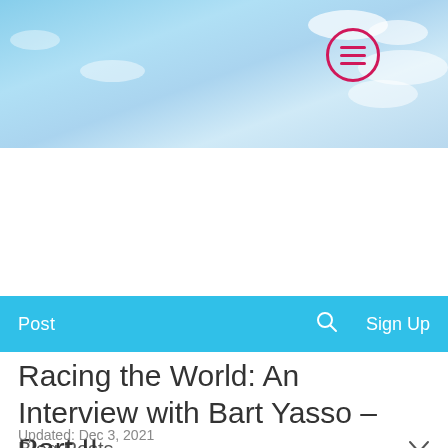[Figure (screenshot): Website header with sky/clouds background and pink hamburger menu button in a circle]
Post  Search  Sign Up
Blog Posts
Miriam Diaz-Gilbert  Nov 29, 2017 • 6 min
Racing the World: An Interview with Bart Yasso – Part II
Updated: Dec 3, 2021